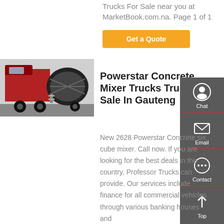Trucks For Sale near you at MarketBook.com.na. Page 1 of 1
Get a Quote
[Figure (photo): Red Powerstar concrete mixer truck, side/front view showing cab and drum]
Powerstar Concrete Mixer Trucks Trucks For Sale In Gauteng
New 2628 Powerstar Concrete six cube mixer. Call now. If you are looking for the best deals in the country, Professor Trucks can provide. Our services include finance for all commercial vehicles through various banking houses and